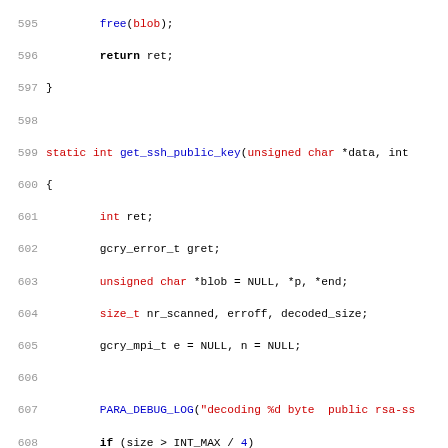[Figure (screenshot): Source code listing lines 595-627 of a C file showing a function get_ssh_public_key with syntax highlighting. Line numbers in gray, keywords in bold black, type names and function calls in blue, string literals in red.]